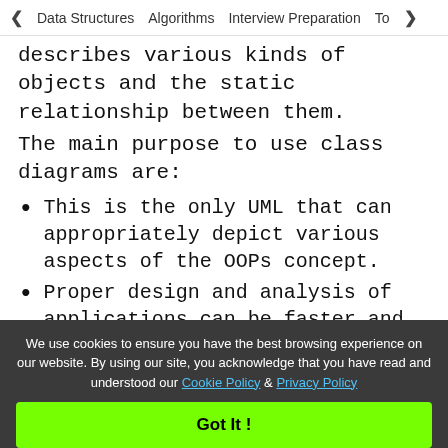< Data Structures   Algorithms   Interview Preparation   To>
describes various kinds of objects and the static relationship between them.
The main purpose to use class diagrams are:
This is the only UML that can appropriately depict various aspects of the OOPs concept.
Proper design and analysis of applications can be faster and efficient.
It is the base for deployment and component diagram.
We use cookies to ensure you have the best browsing experience on our website. By using our site, you acknowledge that you have read and understood our Cookie Policy & Privacy Policy
Got It !